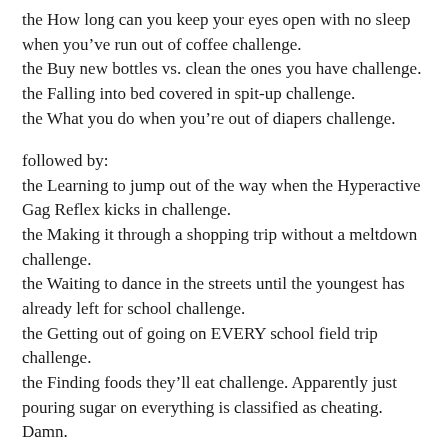the How long can you keep your eyes open with no sleep when you've run out of coffee challenge.
the Buy new bottles vs. clean the ones you have challenge.
the Falling into bed covered in spit-up challenge.
the What you do when you're out of diapers challenge.
followed by:
the Learning to jump out of the way when the Hyperactive Gag Reflex kicks in challenge.
the Making it through a shopping trip without a meltdown challenge.
the Waiting to dance in the streets until the youngest has already left for school challenge.
the Getting out of going on EVERY school field trip challenge.
the Finding foods they'll eat challenge. Apparently just pouring sugar on everything is classified as cheating. Damn.